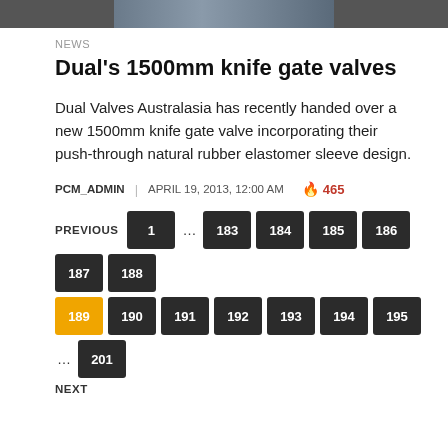[Figure (photo): Cropped top image strip, partially visible]
NEWS
Dual's 1500mm knife gate valves
Dual Valves Australasia has recently handed over a new 1500mm knife gate valve incorporating their push-through natural rubber elastomer sleeve design.
PCM_ADMIN | APRIL 19, 2013, 12:00 AM  🔥 465
Pagination: PREVIOUS 1 ... 183 184 185 186 187 188 189 (active) 190 191 192 193 194 195 ... 201 NEXT